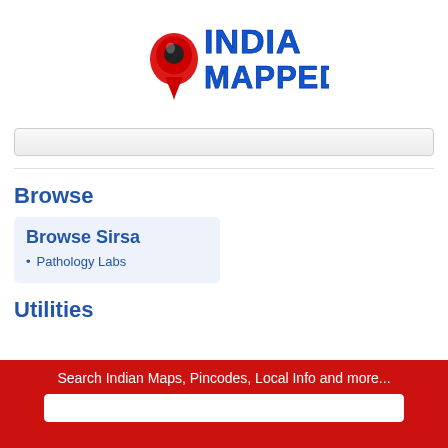[Figure (logo): India Mapped logo with red location pin and blue bold text 'INDIA MAPPED']
Browse
Browse Sirsa
Pathology Labs
Utilities
Search Indian Maps, Pincodes, Local Info and more...